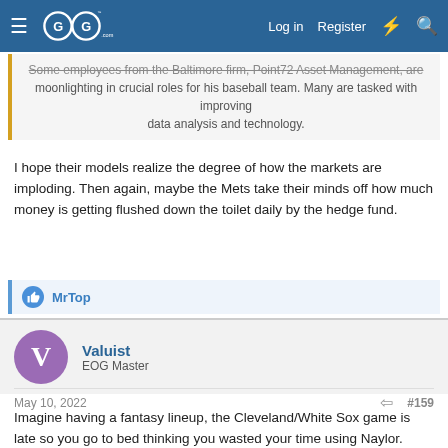EOG Sports Forum navigation bar with logo, Log in, Register links
Some employees from the Baltimore firm, Point72 Asset Management, are moonlighting in crucial roles for his baseball team. Many are tasked with improving data analysis and technology.
I hope their models realize the degree of how the markets are imploding. Then again, maybe the Mets take their minds off how much money is getting flushed down the toilet daily by the hedge fund.
MrTop
Valuist
EOG Master
May 10, 2022
#159
Imagine having a fantasy lineup, the Cleveland/White Sox game is late so you go to bed thinking you wasted your time using Naylor.
Guardians stun White Sox; Naylor makes history
Josh Naylor became the first player since the stat became official in 1920 to have eight RBIs from the eighth inning on in a game, powering Cleveland to a...